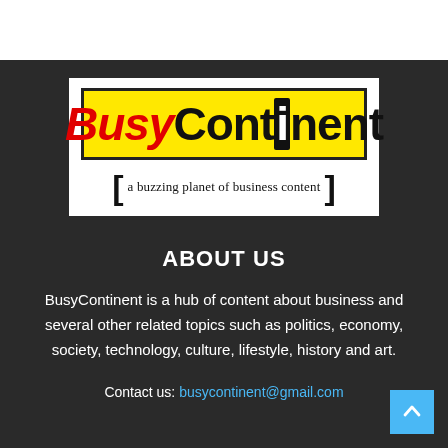[Figure (logo): BusyContinent logo: yellow box with 'BusyContinent' in bold text (Busy in red italic, Continent in black, with a highlighted 'i'), and tagline 'a buzzing planet of business content' in brackets below]
ABOUT US
BusyContinent is a hub of content about business and several other related topics such as politics, economy, society, technology, culture, lifestyle, history and art.
Contact us: busycontinent@gmail.com